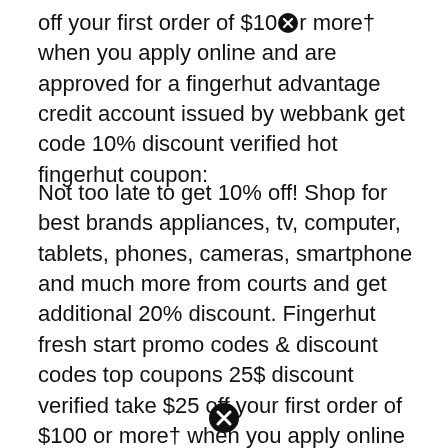off your first order of $10⊗r more† when you apply online and are approved for a fingerhut advantage credit account issued by webbank get code 10% discount verified hot fingerhut coupon:
Not too late to get 10% off! Shop for best brands appliances, tv, computer, tablets, phones, cameras, smartphone and much more from courts and get additional 20% discount. Fingerhut fresh start promo codes & discount codes top coupons 25$ discount verified take $25 off your first order of $100 or more† when you apply online and are approved for a fingerhut advantage credit account issued by webbank get code 10% discount verified hot fingerhut coupon:
[Figure (other): Close/cancel icon (circle with X) at bottom center of page]